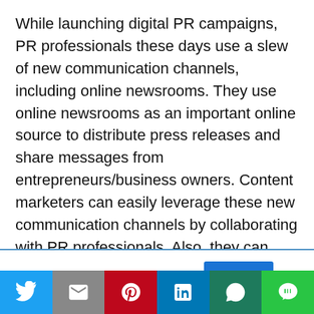While launching digital PR campaigns, PR professionals these days use a slew of new communication channels, including online newsrooms. They use online newsrooms as an important online source to distribute press releases and share messages from entrepreneurs/business owners. Content marketers can easily leverage these new communication channels by collaborating with PR professionals. Also, they can make PR campaigns more effective by providing PR professionals with original research and
This website uses cookies.
[Figure (other): Social share bar with Twitter, Gmail, Pinterest, LinkedIn, WhatsApp, and LINE buttons]